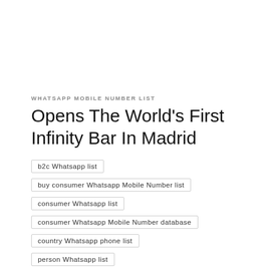WHATSAPP MOBILE NUMBER LIST
Opens The World's First Infinity Bar In Madrid
b2c Whatsapp list
buy consumer Whatsapp Mobile Number list
consumer Whatsapp list
consumer Whatsapp Mobile Number database
country Whatsapp phone list
person Whatsapp list